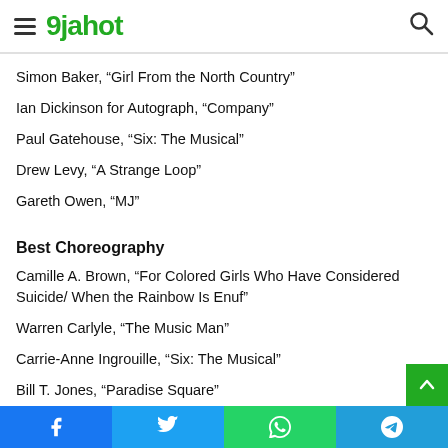9jahot
Simon Baker, “Girl From the North Country”
Ian Dickinson for Autograph, “Company”
Paul Gatehouse, “Six: The Musical”
Drew Levy, “A Strange Loop”
Gareth Owen, “MJ”
Best Choreography
Camille A. Brown, “For Colored Girls Who Have Considered Suicide/ When the Rainbow Is Enuf”
Warren Carlyle, “The Music Man”
Carrie-Anne Ingrouille, “Six: The Musical”
Bill T. Jones, “Paradise Square”